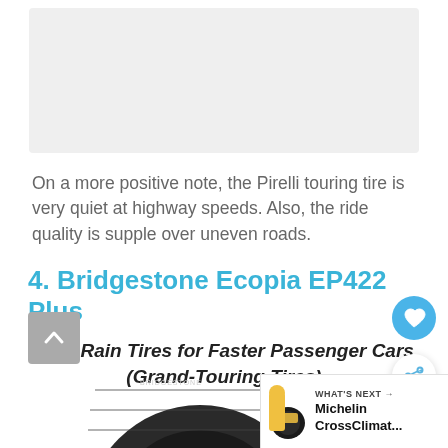[Figure (other): Gray placeholder advertisement banner area at the top of the page]
On a more positive note, the Pirelli touring tire is very quiet at highway speeds. Also, the ride quality is supple over uneven roads.
4. Bridgestone Ecopia EP422 Plus
Best Rain Tires for Faster Passenger Cars (Grand-Touring Tires)
[Figure (photo): Partial image of Bridgestone tire (Ecopia EP422 Plus) showing tread pattern, cut off at bottom of page. Also includes UI elements: scroll-to-top button, heart/favorite FAB button, share FAB button, and a 'What's Next' card showing Michelin CrossClimat... thumbnail and label.]